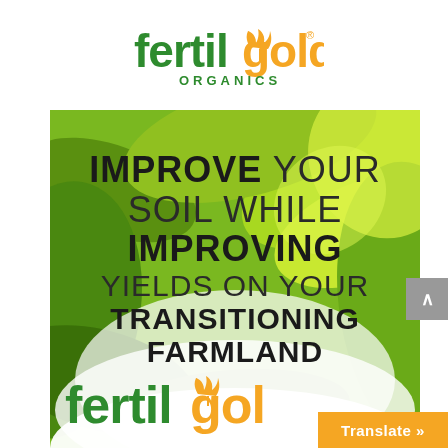[Figure (logo): Fertilgold Organics logo — green 'fertil' text with gold leaf accent and gold 'gold' text, 'ORGANICS' in green below]
[Figure (photo): Marketing banner with green leafy plant background and white mist at bottom. Large bold text reads: IMPROVE YOUR SOIL WHILE IMPROVING YIELDS ON YOUR TRANSITIONING FARMLAND. Fertilgold logo repeated at bottom of banner.]
Translate »